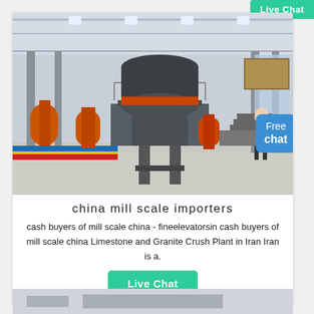Live Chat
[Figure (photo): Large industrial hall/factory interior showing a massive cone crusher or industrial mill machine on an elevated platform, with multiple smaller crushers visible in the background, colorful safety barriers on the floor, high ceiling with skylights, and a person in white shirt standing to the right. A 'Free chat' speech bubble overlay appears in the lower right of the image.]
china mill scale importers
cash buyers of mill scale china - fineelevatorsin cash buyers of mill scale china Limestone and Granite Crush Plant in Iran Iran is a.
Live Chat
[Figure (photo): Partial view of another industrial/factory image at the bottom of the page.]